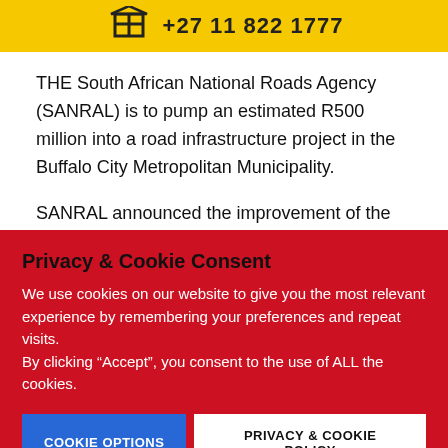[Figure (logo): Yellow banner with building/construction icon and phone number +27 11 822 1777]
THE South African National Roads Agency (SANRAL) is to pump an estimated R500 million into a road infrastructure project in the Buffalo City Metropolitan Municipality.
SANRAL announced the improvement of the N2 from Green...
Privacy & Cookie Consent
We use cookies on our website to give you the most relevant experience by remembering your preferences and repeat visits.
By clicking “Accept”, you consent to the use of ALL the cookies.
COOKIE OPTIONS   PRIVACY & COOKIE POLICY
ACCEPT   REJECT